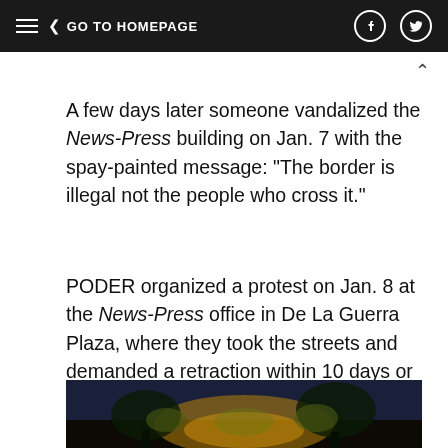≡  < GO TO HOMEPAGE
A few days later someone vandalized the News-Press building on Jan. 7 with the spay-painted message: "The border is illegal not the people who cross it."
PODER organized a protest on Jan. 8 at the News-Press office in De La Guerra Plaza, where they took the streets and demanded a retraction within 10 days or face a boycott.
[Figure (photo): Nighttime outdoor photo with yellow lighting, trees and foliage visible against a dark blue sky]